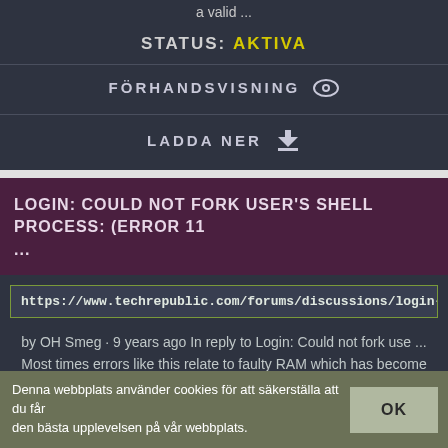a valid ...
STATUS: AKTIVA
FÖRHANDSVISNING
LADDA NER
LOGIN: COULD NOT FORK USER'S SHELL PROCESS: (ERROR 11 ...
https://www.techrepublic.com/forums/discussions/login-could-not-fork-
by OH Smeg · 9 years ago In reply to Login: Could not fork use ... Most times errors like this relate to faulty RAM which has become unstable. I would suggest Mem Test 86 or the Ultimate Boot CD ...
STATUS: AKTIVA
Denna webbplats använder cookies för att säkerställa att du får den bästa upplevelsen på vår webbplats.